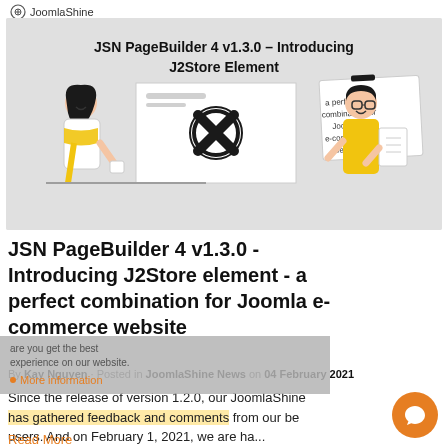JoomlaShine
[Figure (illustration): Banner image showing JSN PageBuilder 4 v1.3.0 – Introducing J2Store Element. Illustration of two cartoon characters (a woman with yellow scarf and a man in yellow shirt) with a Joomla logo in the center and a sticky note reading 'a perfect combination for Joomla e-commerce website'.]
JSN PageBuilder 4 v1.3.0 - Introducing J2Store element - a perfect combination for Joomla e-commerce website
By Kay Nguyen · Posted in JoomlaShine News on 04 February 2021
Since the release of version 1.2.0, our JoomlaShine has gathered feedback and comments from our be users. And on February 1, 2021, we are ha...
Read More